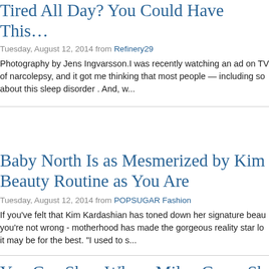Tired All Day? You Could Have This...
Tuesday, August 12, 2014 from Refinery29
Photography by Jens Ingvarsson.I was recently watching an ad on TV of narcolepsy, and it got me thinking that most people — including so about this sleep disorder . And, w...
Baby North Is as Mesmerized by Kim Beauty Routine as You Are
Tuesday, August 12, 2014 from POPSUGAR Fashion
If you've felt that Kim Kardashian has toned down her signature beau you're not wrong - motherhood has made the gorgeous reality star lo it may be for the best. "I used to s...
You Can Shop Where Miley Cyrus Sh Chanel
Tuesday, August 12, 2014 from Refinery29
Miley Cyrus may not be your traditional Chanel wearer. Often when w house an image of Coco herself comes to mind — along with bouclé (so many pearls). Not once do we think of t...